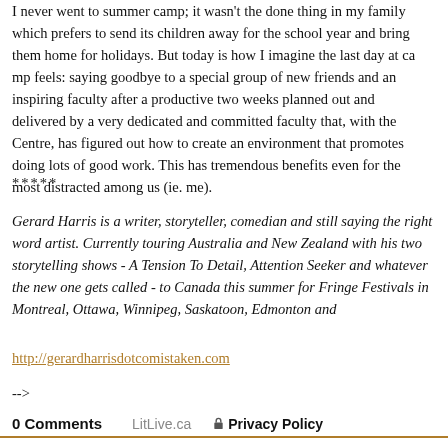I never went to summer camp; it wasn't the done thing in my family which prefers to send its children away for the school year and bring them home for holidays. But today is how I imagine the last day at camp feels: saying goodbye to a special group of new friends and an inspiring faculty after a productive two weeks planned out and delivered by a very dedicated and committed faculty that, with the Centre, has figured out how to create an environment that promotes doing lots of good work. This has tremendous benefits even for the most distracted among us (ie. me).
*****
Gerard Harris is a writer, storyteller, comedian and still searching for the right word artist. Currently touring Australia and New Zealand with his two storytelling shows - A Tension To Detail, Attention Seeker and whatever the new one gets called - to Canada this summer for Fringe Festivals in Montreal, Ottawa, Winnipeg, Saskatoon, Edmonton and
http://gerardharrisdotcomistaken.com
-->
0 Comments   LitLive.ca   Privacy Policy